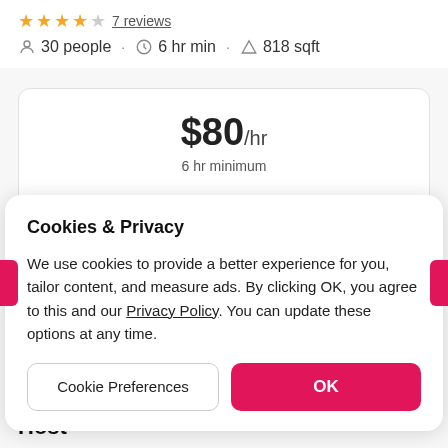★★★★☆ 7 reviews
30 people · 6 hr min · 818 sqft
$80/hr · 6 hr minimum
Cookies & Privacy
We use cookies to provide a better experience for you, tailor content, and measure ads. By clicking OK, you agree to this and our Privacy Policy. You can update these options at any time.
Cookie Preferences
OK
Host